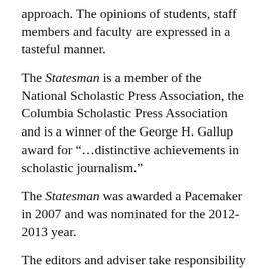approach. The opinions of students, staff members and faculty are expressed in a tasteful manner.
The Statesman is a member of the National Scholastic Press Association, the Columbia Scholastic Press Association and is a winner of the George H. Gallup award for “…distinctive achievements in scholastic journalism.”
The Statesman was awarded a Pacemaker in 2007 and was nominated for the 2012-2013 year.
The editors and adviser take responsibility for the content of the Statesman.
Follow the Statesman on Twitter and Instagram with the handle @lhsstatesman.